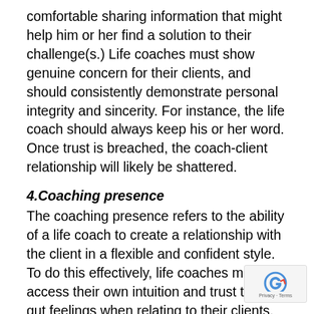comfortable sharing information that might help him or her find a solution to their challenge(s.) Life coaches must show genuine concern for their clients, and should consistently demonstrate personal integrity and sincerity. For instance, the life coach should always keep his or her word. Once trust is breached, the coach-client relationship will likely be shattered.
4.Coaching presence
The coaching presence refers to the ability of a life coach to create a relationship with the client in a flexible and confident style. To do this effectively, life coaches must access their own intuition and trust their gut feelings when relating to their clients. They should be open new possibilities and perspectives. A good coach